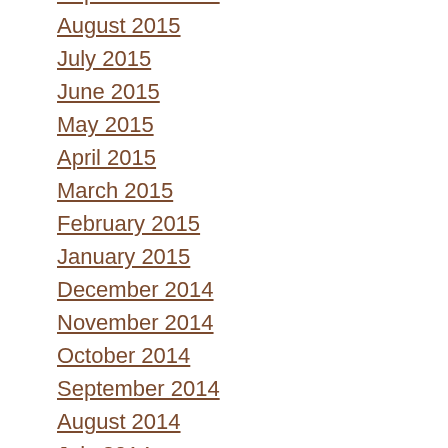September 2015
August 2015
July 2015
June 2015
May 2015
April 2015
March 2015
February 2015
January 2015
December 2014
November 2014
October 2014
September 2014
August 2014
July 2014
June 2014
May 2014
April 2014
March 2014